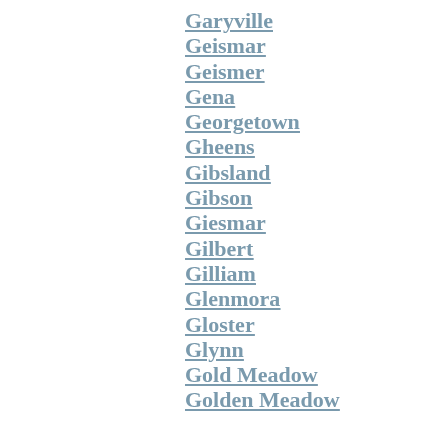Garyville
Geismar
Geismer
Gena
Georgetown
Gheens
Gibsland
Gibson
Giesmar
Gilbert
Gilliam
Glenmora
Gloster
Glynn
Gold Meadow
Golden Meadow